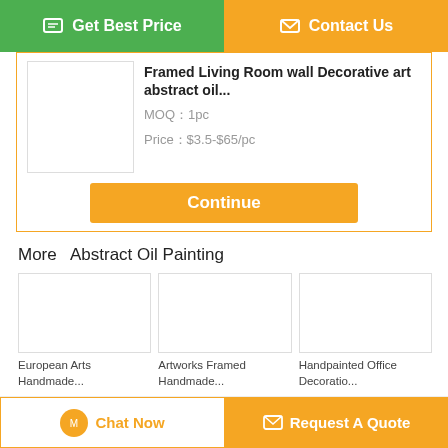Get Best Price
Contact Us
Framed Living Room wall Decorative art abstract oil...
MOQ：1pc
Price：$3.5-$65/pc
Continue
More  Abstract Oil Painting
European Arts Handmade...
Artworks Framed Handmade...
Handpainted Office Decoratio...
Change Language
Chat Now
Request A Quote